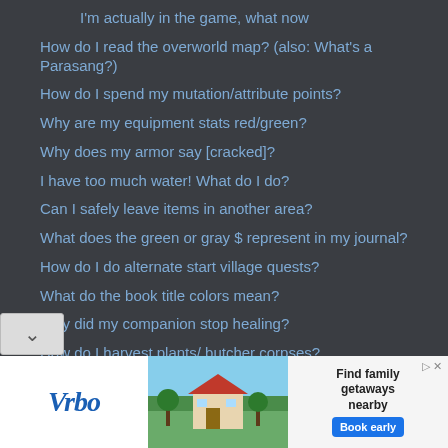I'm actually in the game, what now
How do I read the overworld map? (also: What's a Parasang?)
How do I spend my mutation/attribute points?
Why are my equipment stats red/green?
Why does my armor say [cracked]?
I have too much water! What do I do?
Can I safely leave items in another area?
What does the green or gray $ represent in my journal?
How do I do alternate start village quests?
What do the book title colors mean?
Why did my companion stop healing?
How do I harvest plants/ butcher corpses?
What are the things like <this> to the right of my items? (Tinkering 101)
What do I do if my save is incompatible?
Something doesn't work right (Bug Reporting 101)
What else should I know to not die?
[Figure (screenshot): Vrbo advertisement banner with logo, vacation house photo, text 'Find family getaways nearby', and a blue 'Book early' button]